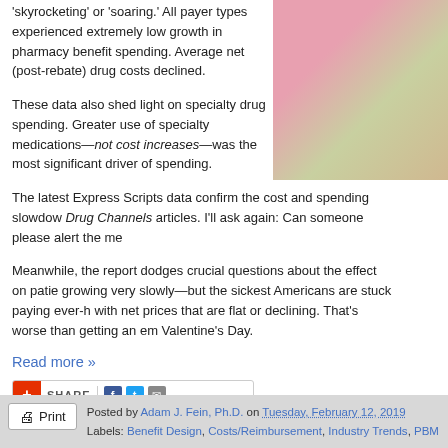'skyrocketing' or 'soaring.' All payer types experienced extremely low growth in pharmacy benefit spending. Average net (post-rebate) drug costs declined.
[Figure (photo): Close-up photo of colorful pills/capsules, pink and yellow tones]
These data also shed light on specialty drug spending. Greater use of specialty medications—not cost increases—was the most significant driver of spending.
The latest Express Scripts data confirm the cost and spending slowdown I've highlighted in previous Drug Channels articles. I'll ask again: Can someone please alert the media?
Meanwhile, the report dodges crucial questions about the effect on patients. Overall drug spending is growing very slowly—but the sickest Americans are stuck paying ever-higher out-of-pocket costs, even with net prices that are flat or declining. That's worse than getting an empty box of chocolates on Valentine's Day.
Read more »
Posted by Adam J. Fein, Ph.D. on Tuesday, February 12, 2019
Labels: Benefit Design, Costs/Reimbursement, Industry Trends, PBM